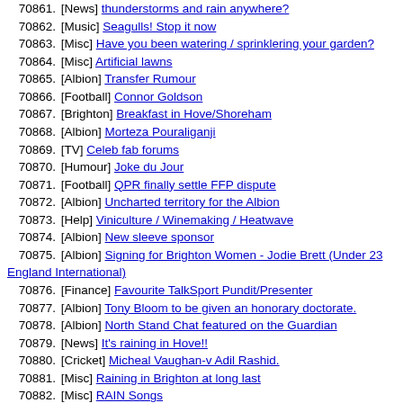70861. [News] thunderstorms and rain anywhere?
70862. [Music] Seagulls! Stop it now
70863. [Misc] Have you been watering / sprinklering your garden?
70864. [Misc] Artificial lawns
70865. [Albion] Transfer Rumour
70866. [Football] Connor Goldson
70867. [Brighton] Breakfast in Hove/Shoreham
70868. [Albion] Morteza Pouraliganji
70869. [TV] Celeb fab forums
70870. [Humour] Joke du Jour
70871. [Football] QPR finally settle FFP dispute
70872. [Albion] Uncharted territory for the Albion
70873. [Help] Viniculture / Winemaking / Heatwave
70874. [Albion] New sleeve sponsor
70875. [Albion] Signing for Brighton Women - Jodie Brett (Under 23 England International)
70876. [Finance] Favourite TalkSport Pundit/Presenter
70877. [Albion] Tony Bloom to be given an honorary doctorate.
70878. [Albion] North Stand Chat featured on the Guardian
70879. [News] It's raining in Hove!!
70880. [Cricket] Micheal Vaughan-v Adil Rashid.
70881. [Misc] Raining in Brighton at long last
70882. [Misc] RAIN Songs
70883. [Football] ITV4 Johan Cruyff documentary just started
70884. [Football] Tapping up of players
70885. [Misc] Blood Moon.
70886. [Albion] Friendly at Birmingham tomorrow
70887. [Film] Oh crap
70888. [Cricket] Any junior cricketers fancy a game
70889. [...]  The Amp...